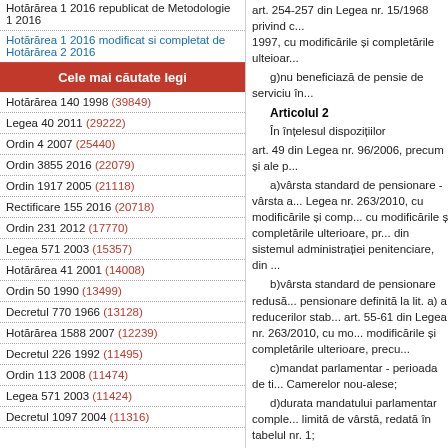Hotărărea 1 2016 republicat de Metodologie 1 2016
Hotărărea 1 2016 modificat si completat de Hotărărea 2 2016
Cele mai căutate legi
Hotărărea 140 1998 (39849)
Legea 40 2011 (29222)
Ordin 4 2007 (25440)
Ordin 3855 2016 (22079)
Ordin 1917 2005 (21118)
Rectificare 155 2016 (20718)
Ordin 231 2012 (17770)
Legea 571 2003 (15357)
Hotărărea 41 2001 (14008)
Ordin 50 1990 (13499)
Decretul 770 1966 (13128)
Hotărărea 1588 2007 (12239)
Decretul 226 1992 (11495)
Ordin 113 2008 (11474)
Legea 571 2003 (11424)
Decretul 1097 2004 (11316)
art. 254-257 din Legea nr. 15/1968 privind c... 1997, cu modificările și completările ulteioar...
g)nu beneficiază de pensie de serviciu în...
Articolul 2
În înțelesul dispozițiilor
art. 49 din Legea nr. 96/2006, precum și ale p...
a)vârsta standard de pensionare - vârsta a... Legea nr. 263/2010, cu modificările și comp... cu modificările și completările ulterioare, pr... din sistemul administrației penitenciare, din ...
b)vârsta standard de pensionare redusă... pensionare definită la lit. a) a reducerilor stab... art. 55-61 din Legea nr. 263/2010, cu mo... modificările și completările ulterioare, precu...
c)mandat parlamentar - perioada de ti... Camerelor nou-alese;
d)durata mandatului parlamentar comple... limită de vârstă, redată în tabelul nr. 1;
Tabelul nr. 1. Durata mandatelor complete*
| Legislatura |
| --- |
| 20.05.1990-16.10.1992 |
| 16.10.1992-22.11.1996 |
| 22.11.1996-11.12.2000 |
| 11.12.2000-12.12.2004 |